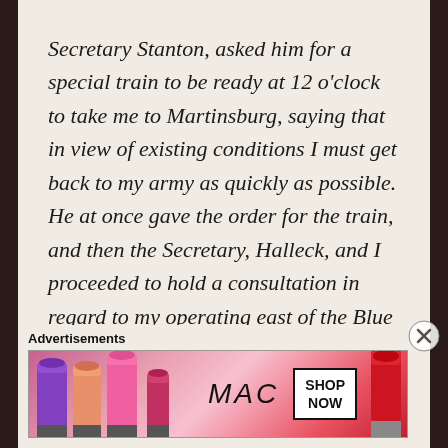Secretary Stanton, asked him for a special train to be ready at 12 o'clock to take me to Martinsburg, saying that in view of existing conditions I must get back to my army as quickly as possible. He at once gave the order for the train, and then the Secretary, Halleck, and I proceeded to hold a consultation in regard to my operating east of the Blue Ridge. The upshot was that my views against such a plan were practically agreed to, and two engineer officers were designated to return with me for the
Advertisements
[Figure (photo): MAC cosmetics advertisement banner showing colorful lipsticks on the left, MAC logo in cursive in the center, a SHOP NOW box, and a red lipstick on the right]